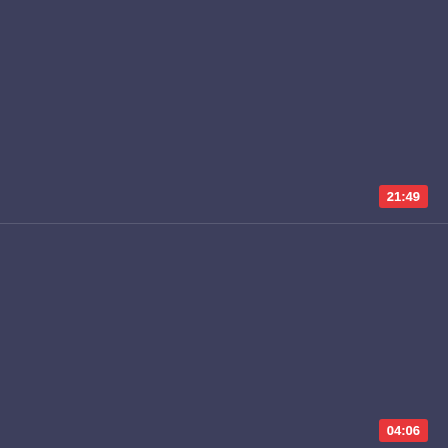[Figure (screenshot): Video thumbnail placeholder — dark blue-grey rectangle representing the top video card with a red duration badge showing 21:49 in the upper right area]
Hot chick in pantyhose is blackalized
[Figure (screenshot): Video thumbnail placeholder — dark blue-grey rectangle representing the bottom video card with a red duration badge showing 04:06 in the bottom right corner]